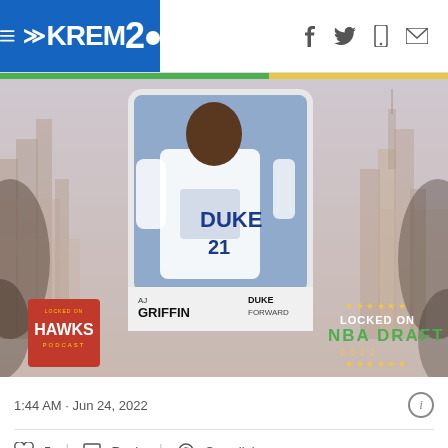KREM2 - navigation header with social icons (f, bird/twitter, phone, envelope)
[Figure (photo): NBA Draft 2022 promotional image showing AJ Griffin in Duke #21 jersey on a trading card, with Locked On Hawks and Locked On NBA Draft 2022 logos, set against a cityscape background.]
1:44 AM · Jun 24, 2022
♡  5    Reply    Copy link